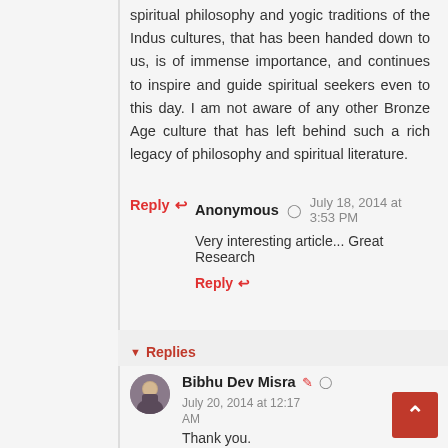spiritual philosophy and yogic traditions of the Indus cultures, that has been handed down to us, is of immense importance, and continues to inspire and guide spiritual seekers even to this day. I am not aware of any other Bronze Age culture that has left behind such a rich legacy of philosophy and spiritual literature.
Reply ↩
Anonymous ◷ July 18, 2014 at 3:53 PM
Very interesting article... Great Research
Reply ↩
▾ Replies
Bibhu Dev Misra ✎ ◷ July 20, 2014 at 12:17 AM
Thank you.